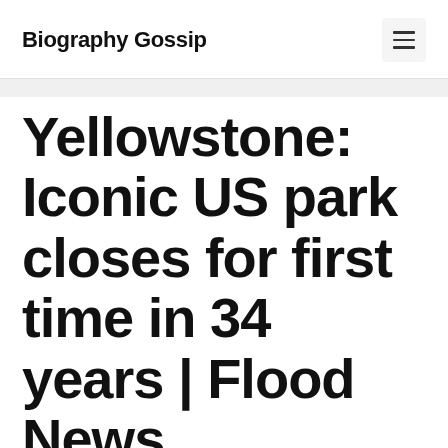Biography Gossip
Yellowstone: Iconic US park closes for first time in 34 years | Flood News
June 14, 2022 by admin